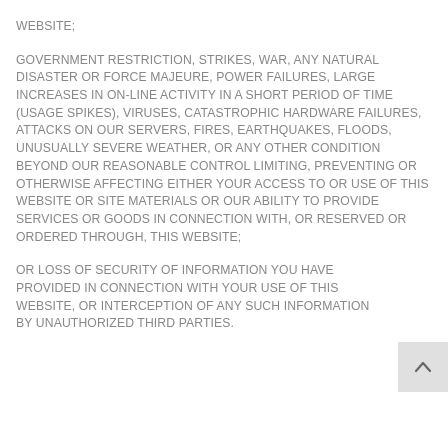WEBSITE;
GOVERNMENT RESTRICTION, STRIKES, WAR, ANY NATURAL DISASTER OR FORCE MAJEURE, POWER FAILURES, LARGE INCREASES IN ON-LINE ACTIVITY IN A SHORT PERIOD OF TIME (USAGE SPIKES), VIRUSES, CATASTROPHIC HARDWARE FAILURES, ATTACKS ON OUR SERVERS, FIRES, EARTHQUAKES, FLOODS, UNUSUALLY SEVERE WEATHER, OR ANY OTHER CONDITION BEYOND OUR REASONABLE CONTROL LIMITING, PREVENTING OR OTHERWISE AFFECTING EITHER YOUR ACCESS TO OR USE OF THIS WEBSITE OR SITE MATERIALS OR OUR ABILITY TO PROVIDE SERVICES OR GOODS IN CONNECTION WITH, OR RESERVED OR ORDERED THROUGH, THIS WEBSITE;
OR LOSS OF SECURITY OF INFORMATION YOU HAVE PROVIDED IN CONNECTION WITH YOUR USE OF THIS WEBSITE, OR INTERCEPTION OF ANY SUCH INFORMATION BY UNAUTHORIZED THIRD PARTIES.